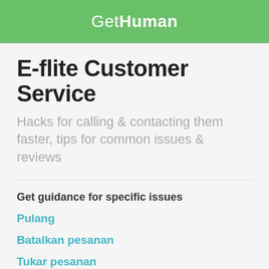GetHuman
E-flite Customer Service
Hacks for calling & contacting them faster, tips for common issues & reviews
Get guidance for specific issues
Pulang
Batalkan pesanan
Tukar pesanan
Sokongan teknikal
Susunon trek